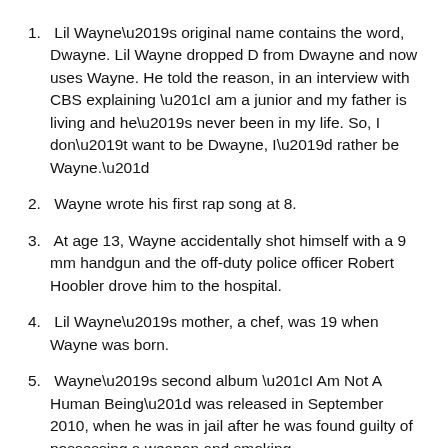Lil Wayne's original name contains the word, Dwayne. Lil Wayne dropped D from Dwayne and now uses Wayne. He told the reason, in an interview with CBS explaining "I am a junior and my father is living and he's never been in my life. So, I don't want to be Dwayne, I'd rather be Wayne."
Wayne wrote his first rap song at 8.
At age 13, Wayne accidentally shot himself with a 9 mm handgun and the off-duty police officer Robert Hoobler drove him to the hospital.
Lil Wayne's mother, a chef, was 19 when Wayne was born.
Wayne's second album "I Am Not A Human Being" was released in September 2010, when he was in jail after he was found guilty of possessing a weapon and smoking